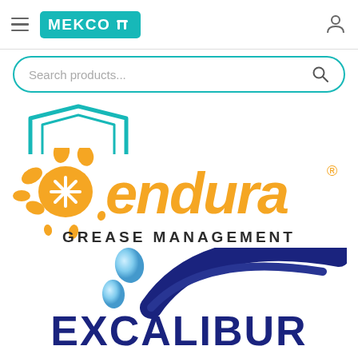[Figure (logo): MEKCO website header with hamburger menu, teal MEKCO logo with wrench icon, and user account icon]
[Figure (screenshot): Search bar with rounded border in teal, placeholder text 'Search products...' and magnifying glass icon]
[Figure (logo): Partial teal geometric logo shape at top of content area]
[Figure (logo): Endura Grease Management logo — orange splat asterisk with 'endura' text and 'GREASE MANAGEMENT' subtitle in dark gray]
[Figure (logo): Excalibur logo — two blue water droplets with a bold navy curved swoosh and 'EXCALIBUR' text in large navy bold letters]